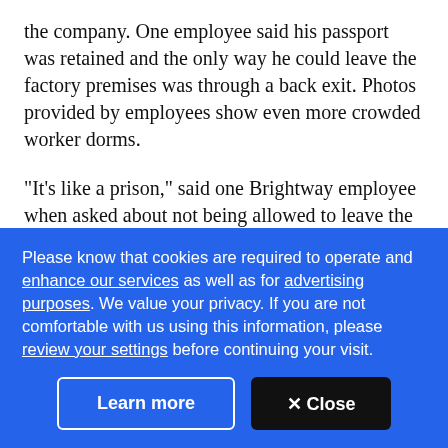the company. One employee said his passport was retained and the only way he could leave the factory premises was through a back exit. Photos provided by employees show even more crowded worker dorms.
"It's like a prison," said one Brightway employee when asked about not being allowed to leave the property.
The Malaysian government raided Brightway Holdings and its subsidiaries in December to investigate
Please know that cookies are required to operate and enhance our services as well as for advertising purposes. We value your privacy. If you are not comfortable with us using this information, please review your settings before continuing your visit.